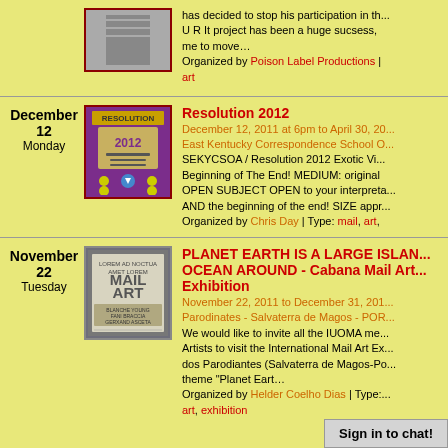has decided to stop his participation in th... U R It project has been a huge sucsess, me to move… Organized by Poison Label Productions | art
December 12 Monday
[Figure (photo): Purple Resolution 2012 poster with hands in chains]
Resolution 2012
December 12, 2011 at 6pm to April 30, 20... East Kentucky Correspondence School O... SEKYCSOA / Resolution 2012 Exotic Vi... Beginning of The End! MEDIUM: original OPEN SUBJECT OPEN to your interpreta... AND the beginning of the end! SIZE appr... Organized by Chris Day | Type: mail, art,
November 22 Tuesday
[Figure (photo): Gray Mail Art poster stamp design]
PLANET EARTH IS A LARGE ISLAN... OCEAN AROUND - Cabana Mail Art... Exhibition
November 22, 2011 to December 31, 201... Parodinates - Salvaterra de Magos - POR... We would like to invite all the IUOMA me... Artists to visit the International Mail Art Ex... dos Parodiantes (Salvaterra de Magos-Po... theme "Planet Eart…
Organized by Helder Coelho Dias | Type:... art, exhibition
Sign in to chat!